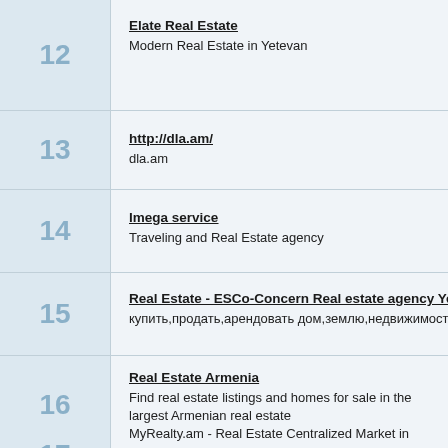12 | Elate Real Estate
Modern Real Estate in Yetevan
13 | http://dla.am/
dla.am
14 | Imega service
Traveling and Real Estate agency
15 | Real Estate - ESCo-Concern Real estate agency Yerevan, Armenia
купить,продать,арендовать дом,землю,недвижимость в Армении,в Ереван
16 | Real Estate Armenia
Find real estate listings and homes for sale in the largest Armenian real estate MyRealty.am - Real Estate Centralized Market in Armenia.
17 | Real Estate Armenia. Akcern Inc.